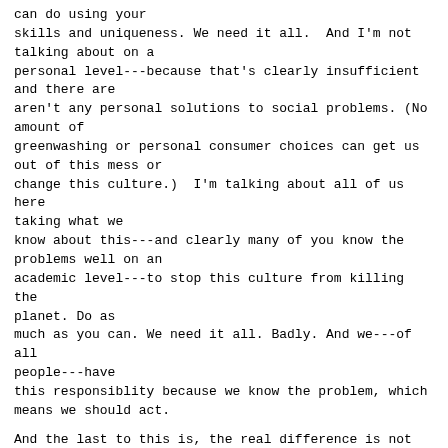can do using your
skills and uniqueness. We need it all.  And I'm not
talking about on a
personal level---because that's clearly insufficient
and there are
aren't any personal solutions to social problems. (No
amount of
greenwashing or personal consumer choices can get us
out of this mess or
change this culture.)  I'm talking about all of us here
taking what we
know about this---and clearly many of you know the
problems well on an
academic level---to stop this culture from killing the
planet. Do as
much as you can. We need it all. Badly. And we---of all
people---have
this responsiblity because we know the problem, which
means we should act.
And the last to this is, the real difference is not so
much what you do,
but a difference between those people who do something
and those people
who do nothing. Which one are you?
-- PostScript
A possibly helpful starting point for interest: